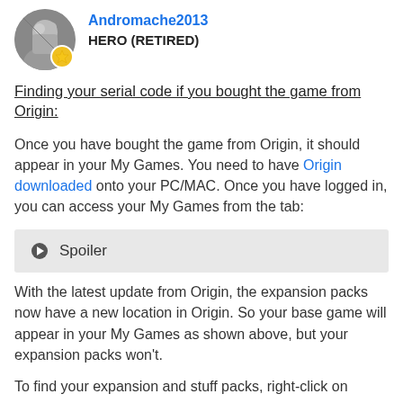[Figure (photo): User avatar photo of Andromache2013 — circular profile photo with a badge/star icon overlay at bottom right]
Andromache2013
HERO (RETIRED)
Finding your serial code if you bought the game from Origin:
Once you have bought the game from Origin, it should appear in your My Games. You need to have Origin downloaded onto your PC/MAC. Once you have logged in, you can access your My Games from the tab:
▶ Spoiler
With the latest update from Origin, the expansion packs now have a new location in Origin. So your base game will appear in your My Games as shown above, but your expansion packs won't.
To find your expansion and stuff packs, right-click on